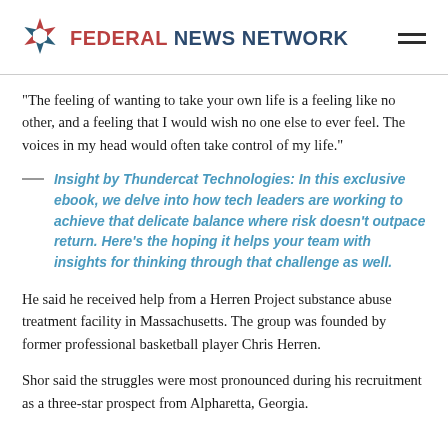FEDERAL NEWS NETWORK
“The feeling of wanting to take your own life is a feeling like no other, and a feeling that I would wish no one else to ever feel. The voices in my head would often take control of my life.”
Insight by Thundercat Technologies: In this exclusive ebook, we delve into how tech leaders are working to achieve that delicate balance where risk doesn’t outpace return. Here’s the hoping it helps your team with insights for thinking through that challenge as well.
He said he received help from a Herren Project substance abuse treatment facility in Massachusetts. The group was founded by former professional basketball player Chris Herren.
Shor said the struggles were most pronounced during his recruitment as a three-star prospect from Alpharetta, Georgia.